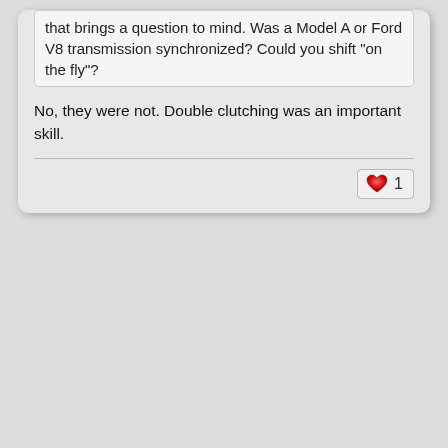that brings a question to mind.  Was a Model A or Ford V8 transmission synchronized?  Could you shift "on the fly"?
No, they were not. Double clutching was an important skill.